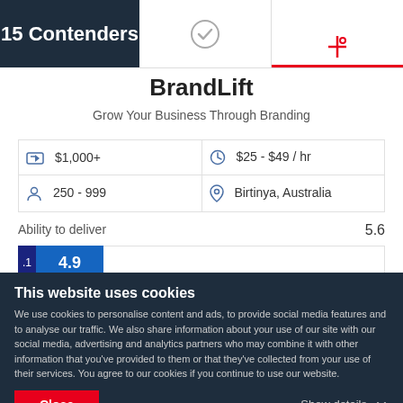15 Contenders
BrandLift
Grow Your Business Through Branding
| Icon | Value | Icon | Value |
| --- | --- | --- | --- |
| [tag icon] | $1,000+ | [clock icon] | $25 - $49 / hr |
| [person icon] | 250 - 999 | [location icon] | Birtinya, Australia |
Ability to deliver	5.6
4.9
This website uses cookies
We use cookies to personalise content and ads, to provide social media features and to analyse our traffic. We also share information about your use of our site with our social media, advertising and analytics partners who may combine it with other information that you've provided to them or that they've collected from your use of their services. You agree to our cookies if you continue to use our website.
Close
Show details